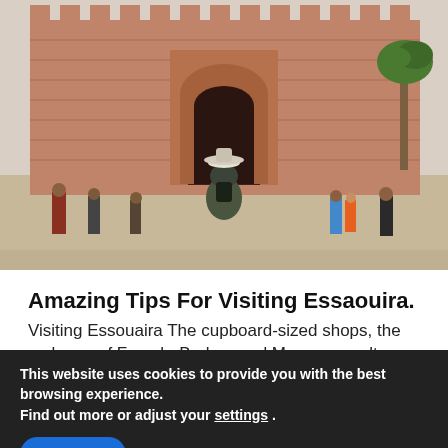[Figure (photo): Tourists walking in front of a large terracotta/brick archway gate in Essaouira, Morocco. A woman with a hat and backpack is seen from behind in the foreground. Several other people are walking around. A palm tree is visible to the right.]
Amazing Tips For Visiting Essaouira.
Visiting Essouaira The cupboard-sized shops, the melange of French, Berber, and Moroccan cultures, the
This website uses cookies to provide you with the best browsing experience.
Find out more or adjust your settings .